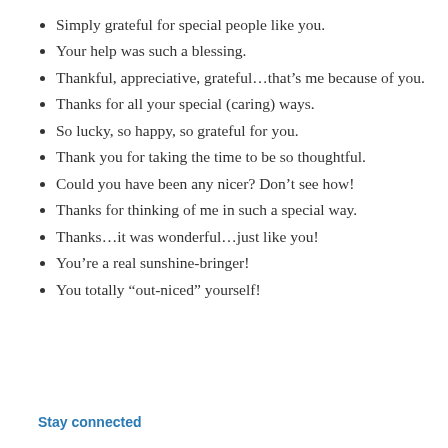Simply grateful for special people like you.
Your help was such a blessing.
Thankful, appreciative, grateful…that's me because of you.
Thanks for all your special (caring) ways.
So lucky, so happy, so grateful for you.
Thank you for taking the time to be so thoughtful.
Could you have been any nicer? Don't see how!
Thanks for thinking of me in such a special way.
Thanks…it was wonderful…just like you!
You're a real sunshine-bringer!
You totally “out-niced” yourself!
Stay connected